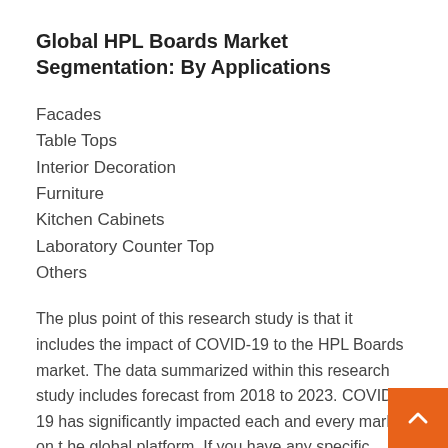Global HPL Boards Market Segmentation: By Applications
Facades
Table Tops
Interior Decoration
Furniture
Kitchen Cabinets
Laboratory Counter Top
Others
The plus point of this research study is that it includes the impact of COVID-19 to the HPL Boards market. The data summarized within this research study includes forecast from 2018 to 2023. COVID-19 has significantly impacted each and every market on the global platform. If you have any specific requirement then Please get in touch with us. Our Expert team will